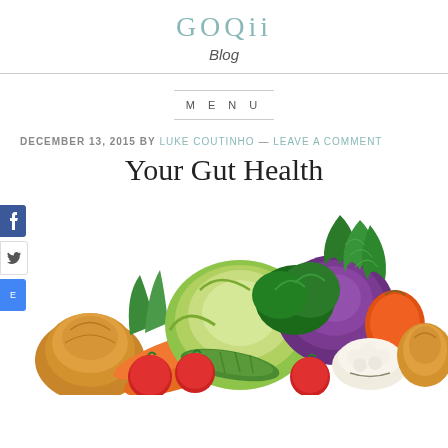GOQii Blog
MENU
DECEMBER 13, 2015 BY LUKE COUTINHO — LEAVE A COMMENT
Your Gut Health
[Figure (photo): A colorful arrangement of fresh vegetables including green cabbage, purple cabbage, dill, parsley, carrots, cucumber, tomatoes, cauliflower, bell pepper, and onions on a white background.]